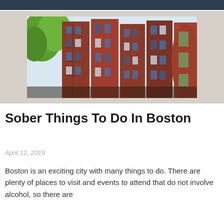[Figure (photo): Photograph of red brick rowhouse buildings in Boston with green trees visible on the left side and blue sky in the background]
Sober Things To Do In Boston
April 12, 2019
Boston is an exciting city with many things to do. There are plenty of places to visit and events to attend that do not involve alcohol, so there are